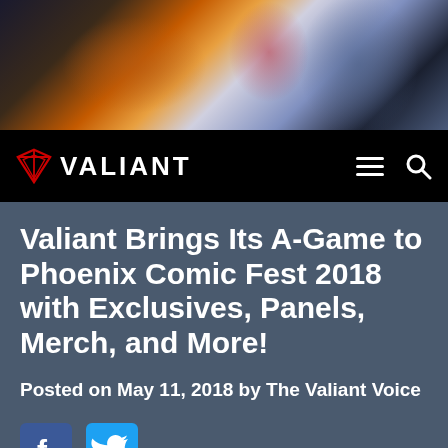[Figure (photo): Hero banner image with comic/movie characters in dark, fiery, and blue tones]
VALIANT
Valiant Brings Its A-Game to Phoenix Comic Fest 2018 with Exclusives, Panels, Merch, and More!
Posted on May 11, 2018 by The Valiant Voice
[Figure (other): Facebook and Twitter social share icons]